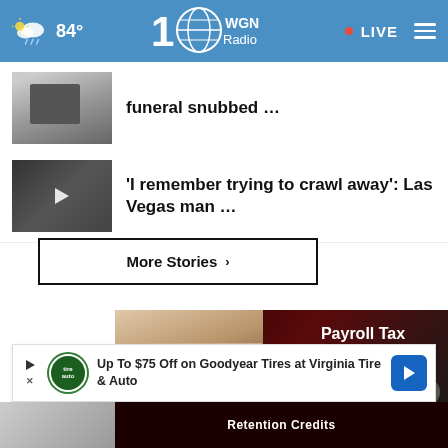84° WGN Radio • LIVE
funeral snubbed …
'I remember trying to crawl away': Las Vegas man …
More Stories ›
[Figure (screenshot): Video advertisement showing Payroll Tax Rebates with people in foreground]
[Figure (advertisement): Banner ad: Up To $75 Off on Goodyear Tires at Virginia Tire & Auto]
Retention Credits